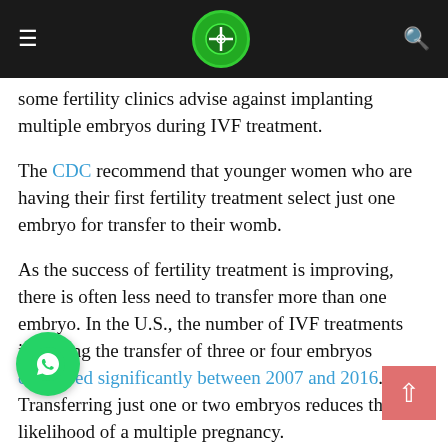Navigation header with menu icon, logo, and search icon
some fertility clinics advise against implanting multiple embryos during IVF treatment.
The CDC recommend that younger women who are having their first fertility treatment select just one embryo for transfer to their womb.
As the success of fertility treatment is improving, there is often less need to transfer more than one embryo. In the U.S., the number of IVF treatments involving the transfer of three or four embryos decreased significantly between 2007 and 2016. Transferring just one or two embryos reduces the likelihood of a multiple pregnancy.
A twin pregnancy increases the risk of: